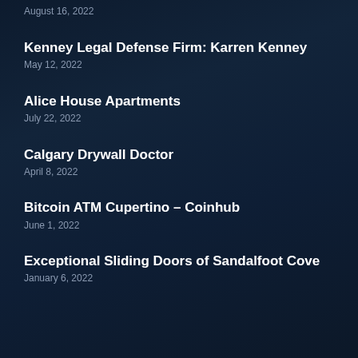August 16, 2022
Kenney Legal Defense Firm: Karren Kenney
May 12, 2022
Alice House Apartments
July 22, 2022
Calgary Drywall Doctor
April 8, 2022
Bitcoin ATM Cupertino – Coinhub
June 1, 2022
Exceptional Sliding Doors of Sandalfoot Cove
January 6, 2022